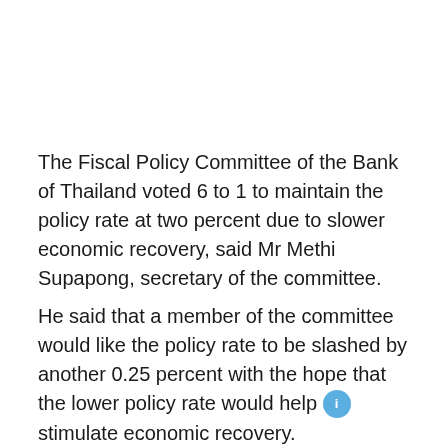The Fiscal Policy Committee of the Bank of Thailand voted 6 to 1 to maintain the policy rate at two percent due to slower economic recovery, said Mr Methi Supapong, secretary of the committee.
He said that a member of the committee would like the policy rate to be slashed by another 0.25 percent with the hope that the lower policy rate would help stimulate economic recovery.